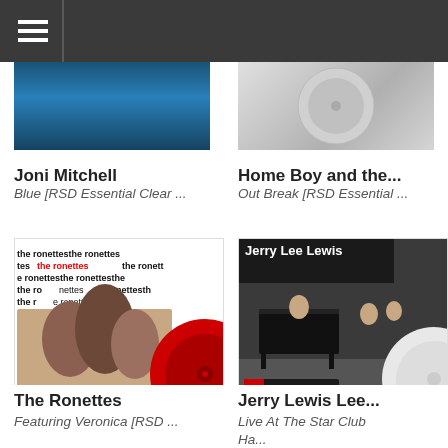Navigation bar with hamburger menu
[Figure (photo): Joni Mitchell Blue album art - blue vinyl record cover]
Joni Mitchell
Blue [RSD Essential Clear ...
[Figure (photo): Home Boy and the... Out Break album art - white vinyl record]
Home Boy and the...
Out Break [RSD Essential ...
[Figure (photo): The Ronettes album art - Featuring Veronica, red vinyl record]
The Ronettes
Featuring Veronica [RSD ...
[Figure (photo): Jerry Lee Lewis Live At The Star Club Hamburg album art - white vinyl]
Jerry Lewis Lee...
Live At The Star Club Ha...